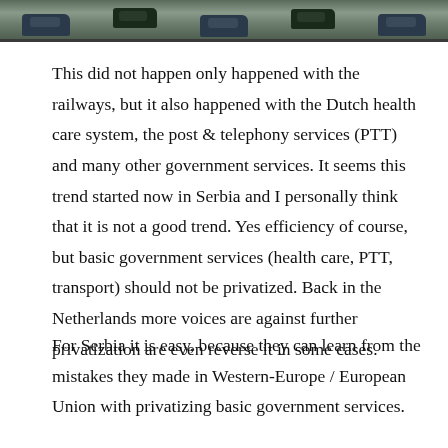[Figure (photo): Aerial or overhead photograph of a road with cars/traffic, shown as a horizontal strip at the top of the page]
This did not happen only happened with the railways, but it also happened with the Dutch health care system, the post & telephony services (PTT) and many other government services. It seems this trend started now in Serbia and I personally think that it is not a good trend. Yes efficiency of course, but basic government services (health care, PTT, transport) should not be privatized. Back in the Netherlands more voices are against further privatization are even reverse it in some cases.
For Serbia it is easy, because they can learn from the mistakes they made in Western-Europe / European Union with privatizing basic government services.